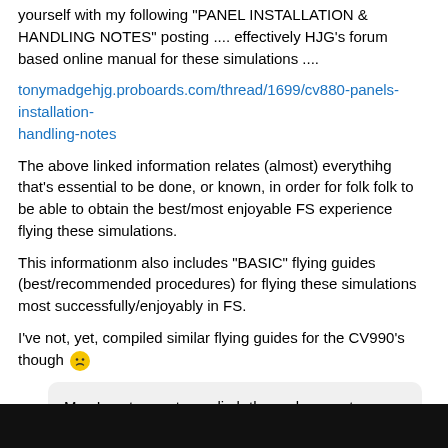yourself with my following "PANEL INSTALLATION & HANDLING NOTES" posting .... effectively HJG's forum based online manual for these simulations ....
tonymadgehjg.proboards.com/thread/1699/cv880-panels-installation-handling-notes
The above linked information relates (almost) everythihg that's essential to be done, or known, in order for folk folk to be able to obtain the best/most enjoyable FS experience flying these simulations.
This informationm also includes "BASIC" flying guides (best/recommended procedures) for flying these simulations most successfully/enjoyably in FS.
I've not, yet, compiled similar flying guides for the CV990's though 😕
May I venture out on a limb tho and request a virtual 3d cockpit for them?
"NO" 😐 🙂 😊 😁
Seriously though 😕 you can't expect to provide a good 3D vc within the MS